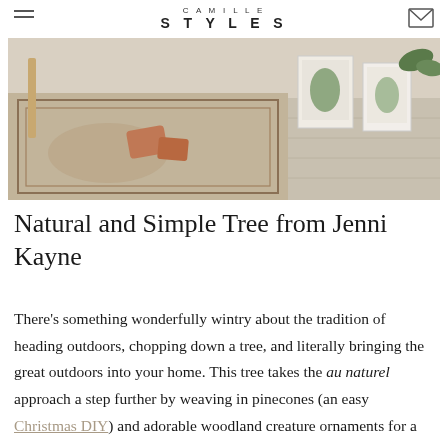CAMILLE STYLES
[Figure (photo): Interior room photo showing a patterned vintage rug on a light hardwood floor, with wooden furniture legs, terracotta-colored cushions/objects, framed botanical prints, and plants in the background.]
Natural and Simple Tree from Jenni Kayne
There’s something wonderfully wintry about the tradition of heading outdoors, chopping down a tree, and literally bringing the great outdoors into your home. This tree takes the au naturel approach a step further by weaving in pinecones (an easy Christmas DIY) and adorable woodland creature ornaments for a